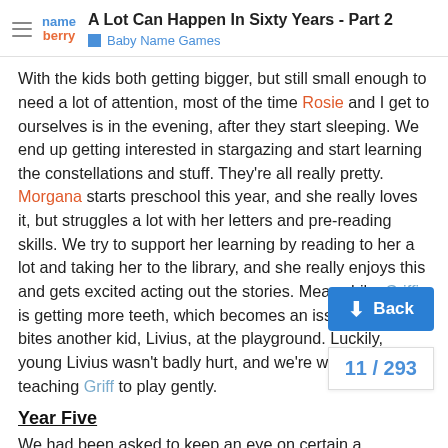A Lot Can Happen In Sixty Years - Part 2 | Baby Name Games
With the kids both getting bigger, but still small enough to need a lot of attention, most of the time Rosie and I get to ourselves is in the evening, after they start sleeping. We end up getting interested in stargazing and start learning the constellations and stuff. They're all really pretty. Morgana starts preschool this year, and she really loves it, but struggles a lot with her letters and pre-reading skills. We try to support her learning by reading to her a lot and taking her to the library, and she really enjoys this and gets excited acting out the stories. Meanwhile, Griffin is getting more teeth, which becomes an issue when he bites another kid, Livius, at the playground. Luckily, young Livius wasn't badly hurt, and we're working on teaching Griff to play gently.
Year Five
We had been asked to keep an eye on certain aspects of Griffin's development after his complicated birth, and early this year, his diagnosis of cerebral palsy, affecting... is confirmed. He starts using a little ZipZac...
11 / 293